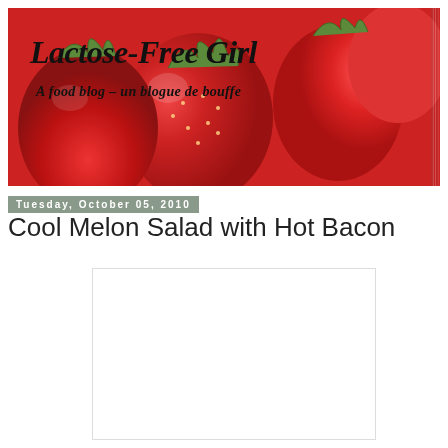[Figure (photo): Blog header banner for 'Lactose-Free Girl' featuring close-up strawberries on a white background with blog title and subtitle text overlaid]
Tuesday, October 05, 2010
Cool Melon Salad with Hot Bacon
[Figure (photo): White/blank image placeholder rectangle]